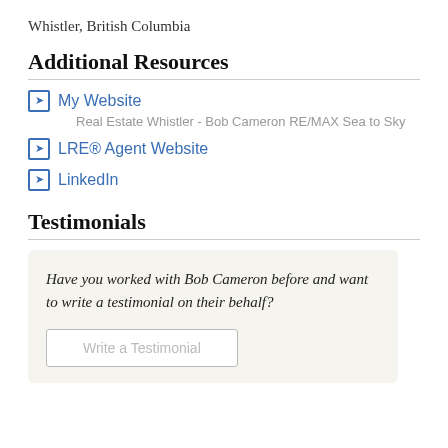Whistler, British Columbia
Additional Resources
My Website
Real Estate Whistler - Bob Cameron RE/MAX Sea to Sky
LRE® Agent Website
LinkedIn
Testimonials
Have you worked with Bob Cameron before and want to write a testimonial on their behalf?
Write a Testimonial